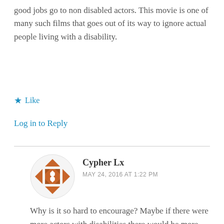good jobs go to non disabled actors. This movie is one of many such films that goes out of its way to ignore actual people living with a disability.
★ Like
Log in to Reply
Cypher Lx
MAY 24, 2016 AT 1:22 PM
[Figure (illustration): Avatar icon with geometric diamond/triangle pattern in orange/brown color]
Why is it so hard to encourage? Maybe if there were more actors with disabilities there would be more actors with disabilities in those roles. There are